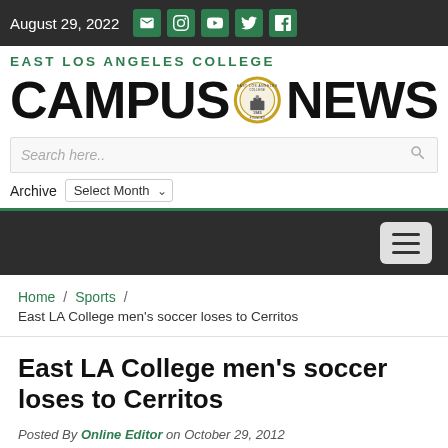August 29, 2022
[Figure (logo): East Los Angeles College Campus News logo with circular seal]
Search here..
Archive  Select Month
Home / Sports / East LA College men's soccer loses to Cerritos
East LA College men's soccer loses to Cerritos
Posted By Online Editor on October 29, 2012